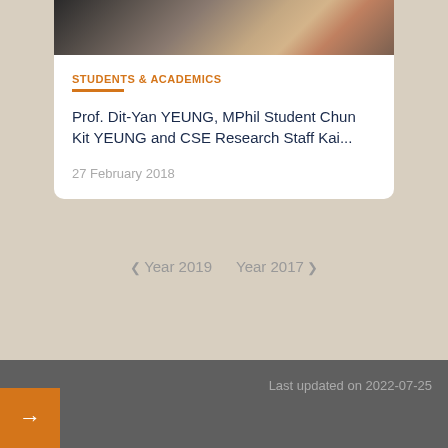[Figure (photo): Partial photo of people, cropped at top of card]
STUDENTS & ACADEMICS
Prof. Dit-Yan YEUNG, MPhil Student Chun Kit YEUNG and CSE Research Staff Kai...
27 February 2018
❮ Year 2019    Year 2017 ❯
Last updated on 2022-07-25